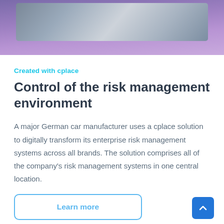[Figure (photo): Hero image showing a person working on a tablet/laptop device, shown from above, with a purple-blue gradient background overlay]
Created with cplace
Control of the risk management environment
A major German car manufacturer uses a cplace solution to digitally transform its enterprise risk management systems across all brands. The solution comprises all of the company's risk management systems in one central location.
Learn more